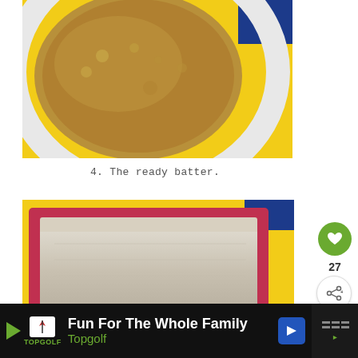[Figure (photo): Top-down view of batter in a white bowl on a yellow surface with a blue corner visible]
4. The ready batter.
[Figure (photo): Red silicone loaf pan filled with batter, sitting on a yellow surface with a blue corner visible]
5. The ready batter in a pan.
[Figure (other): Advertisement banner: Fun For The Whole Family - Topgolf]